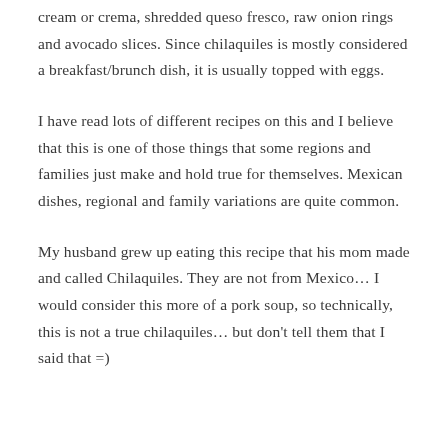cream or crema, shredded queso fresco, raw onion rings and avocado slices. Since chilaquiles is mostly considered a breakfast/brunch dish, it is usually topped with eggs.
I have read lots of different recipes on this and I believe that this is one of those things that some regions and families just make and hold true for themselves. Mexican dishes, regional and family variations are quite common.
My husband grew up eating this recipe that his mom made and called Chilaquiles. They are not from Mexico… I would consider this more of a pork soup, so technically, this is not a true chilaquiles… but don't tell them that I said that =)